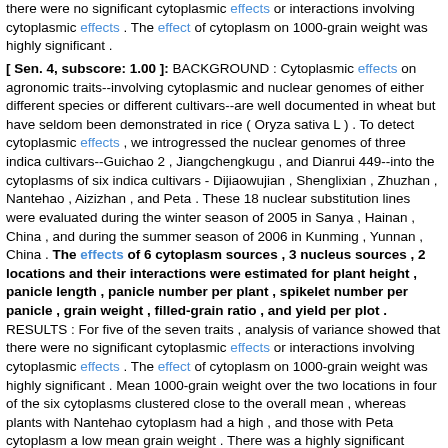there were no significant cytoplasmic effects or interactions involving cytoplasmic effects . The effect of cytoplasm on 1000-grain weight was highly significant .
[ Sen. 4, subscore: 1.00 ]: BACKGROUND : Cytoplasmic effects on agronomic traits--involving cytoplasmic and nuclear genomes of either different species or different cultivars--are well documented in wheat but have seldom been demonstrated in rice ( Oryza sativa L ) . To detect cytoplasmic effects , we introgressed the nuclear genomes of three indica cultivars--Guichao 2 , Jiangchengkugu , and Dianrui 449--into the cytoplasms of six indica cultivars - Dijiaowujian , Shenglixian , Zhuzhan , Nantehao , Aizizhan , and Peta . These 18 nuclear substitution lines were evaluated during the winter season of 2005 in Sanya , Hainan , China , and during the summer season of 2006 in Kunming , Yunnan , China . The effects of 6 cytoplasm sources , 3 nucleus sources , 2 locations and their interactions were estimated for plant height , panicle length , panicle number per plant , spikelet number per panicle , grain weight , filled-grain ratio , and yield per plot . RESULTS : For five of the seven traits , analysis of variance showed that there were no significant cytoplasmic effects or interactions involving cytoplasmic effects . The effect of cytoplasm on 1000-grain weight was highly significant . Mean 1000-grain weight over the two locations in four of the six cytoplasms clustered close to the overall mean , whereas plants with Nantehao cytoplasm had a high , and those with Peta cytoplasm a low mean grain weight . There was a highly significant three-way interaction affecting filled-grain ratio .
[ Sen. 6, subscore: 1.00 ]: To detect cytoplasmic effects , we introgressed the nuclear genomes of three indica cultivars--Guichao 2 , Jiangchengkugu , and Dianrui 449--into the cytoplasms of six indica cultivars - Dijiaowujian , Shenglixian , Zhuzhan , Nantehao , Aizizhan , and Peta . These 18 nuclear substitution lines were evaluated during the winter season of 2005 in Sanya , Hainan , China , and during the